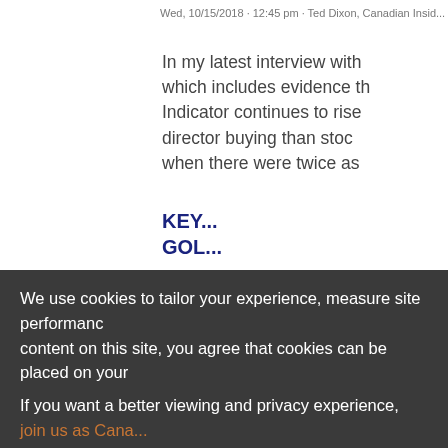Wed, 10/15/2018 - 12:45 pm · Ted Dixon, Canadian Insid...
In my latest interview with which includes evidence th Indicator continues to rise director buying than stoc when there were twice as
KEY... GOL...
[Figure (continuous-plot): Partial view of a line chart with y-axis labels showing values 1,600, 1,800, 2,000, 2,200, 2,400. Title appears to be KEY GOLD... (truncated). The chart content is mostly cut off at right edge of page.]
We use cookies to tailor your experience, measure site performance content on this site, you agree that cookies can be placed on your
If you want a better viewing and privacy experience, join us as Cana...